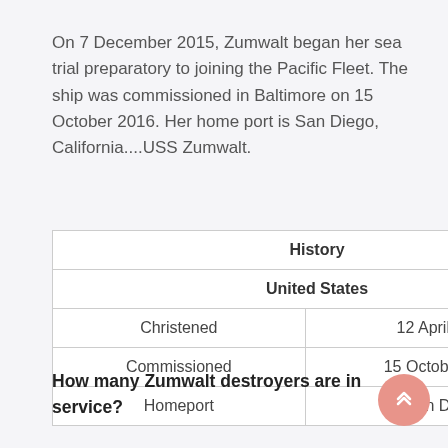On 7 December 2015, Zumwalt began her sea trial preparatory to joining the Pacific Fleet. The ship was commissioned in Baltimore on 15 October 2016. Her home port is San Diego, California....USS Zumwalt.
| History |  |
| --- | --- |
| United States |  |
| Christened | 12 April 2014 |
| Commissioned | 15 October 2016 |
| Homeport | San Diego |
How many Zumwalt destroyers are in service?